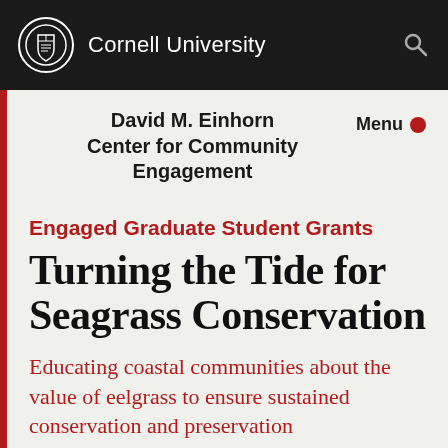Cornell University
David M. Einhorn Center for Community Engagement
Menu
Engaged Graduate Student Grants
Turning the Tide for Seagrass Conservation
Educating coastal communities about the value of eelgrass to ensure sustained conservation and preservation